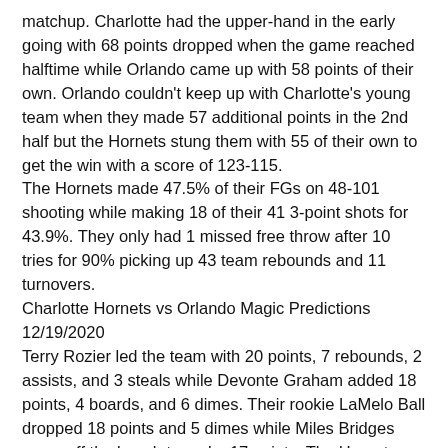matchup. Charlotte had the upper-hand in the early going with 68 points dropped when the game reached halftime while Orlando came up with 58 points of their own. Orlando couldn't keep up with Charlotte's young team when they made 57 additional points in the 2nd half but the Hornets stung them with 55 of their own to get the win with a score of 123-115.
The Hornets made 47.5% of their FGs on 48-101 shooting while making 18 of their 41 3-point shots for 43.9%. They only had 1 missed free throw after 10 tries for 90% picking up 43 team rebounds and 11 turnovers.
Charlotte Hornets vs Orlando Magic Predictions 12/19/2020
Terry Rozier led the team with 20 points, 7 rebounds, 2 assists, and 3 steals while Devonte Graham added 18 points, 4 boards, and 6 dimes. Their rookie LaMelo Ball dropped 18 points and 5 dimes while Miles Bridges came off the bench to make 17 points. The Hornets are 10th in the Eastern Conference this preseason with a record of 1-2.